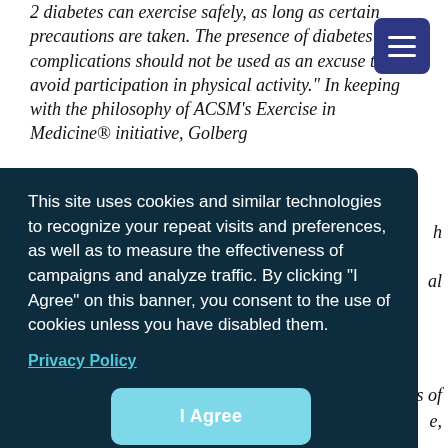2 diabetes can exercise safely, as long as certain precautions are taken. The presence of diabetes complications should not be used as an excuse to avoid participation in physical activity.” In keeping with the philosophy of ACSM’s Exercise in Medicine® initiative, Golberg
[Figure (other): Dark navy hamburger menu button (three horizontal white lines) on blue-purple square background, positioned top right]
This site uses cookies and similar technologies to recognize your repeat visits and preferences, as well as to measure the effectiveness of campaigns and analyze traffic. By clicking “I Agree” on this banner, you consent to the use of cookies unless you have disabled them.
Privacy Policy
I Agree
Predictions that one in three Americans